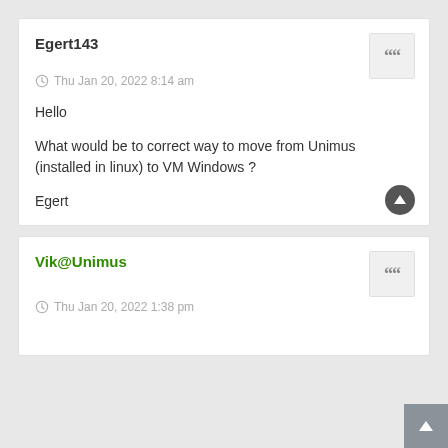Egert143
Thu Jan 20, 2022 8:14 am
Hello

What would be to correct way to move from Unimus (installed in linux) to VM Windows ?

Egert
Vik@Unimus
Thu Jan 20, 2022 1:38 pm